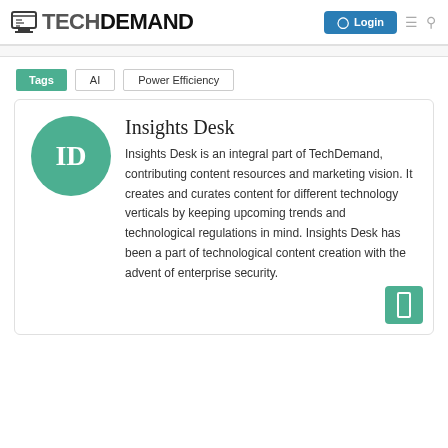TECHDEMAND — Login
Tags AI Power Efficiency
Insights Desk
Insights Desk is an integral part of TechDemand, contributing content resources and marketing vision. It creates and curates content for different technology verticals by keeping upcoming trends and technological regulations in mind. Insights Desk has been a part of technological content creation with the advent of enterprise security.